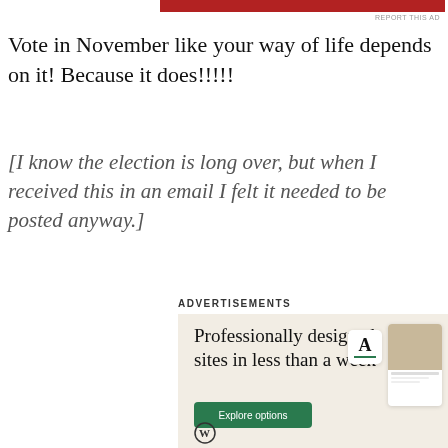[Figure (other): Red banner advertisement strip at top of page]
REPORT THIS AD
Vote in November like your way of life depends on it! Because it does!!!!!
[I know the election is long over, but when I received this in an email I felt it needed to be posted anyway.]
Advertisements
[Figure (infographic): WordPress advertisement banner with beige background showing text 'Professionally designed sites in less than a week', a green 'Explore options' button, and mock website screenshots on the right side with a WordPress logo at bottom left.]